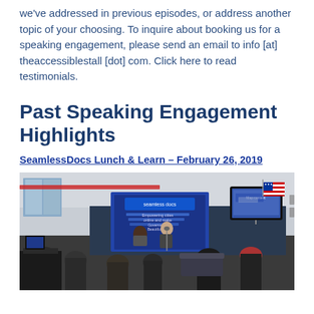we've addressed in previous episodes, or address another topic of your choosing. To inquire about booking us for a speaking engagement, please send an email to info [at] theaccessiblestall [dot] com. Click here to read testimonials.
Past Speaking Engagement Highlights
SeamlessDocs Lunch & Learn – February 26, 2019
[Figure (photo): Photo of a speaking engagement at SeamlessDocs Lunch & Learn event on February 26, 2019. The image shows an audience seated and facing two speakers presenting near a SeamlessDocs banner backdrop. A TV screen is visible on the wall showing a map, and an American flag hangs in the background. The venue appears to be an open office or event space.]